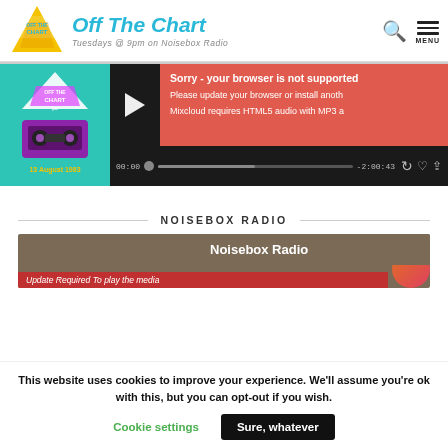Off The Chart — Tuesdays @ 9pm on Noisebox Radio
[Figure (screenshot): Mixcloud audio player embed showing Off The Chart Gold episode from 13 August 1983, with a browser-not-supported error overlay and progress bar showing 00:00 / -2:00:43]
NOISEBOX RADIO
[Figure (screenshot): Noisebox Radio embedded player widget with brown background and 'Update Required To play the media' message]
This website uses cookies to improve your experience. We'll assume you're ok with this, but you can opt-out if you wish.
Cookie settings
Sure, whatever